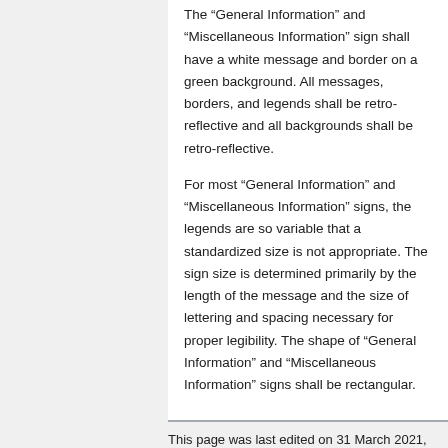The “General Information” and “Miscellaneous Information” sign shall have a white message and border on a green background. All messages, borders, and legends shall be retro-reflective and all backgrounds shall be retro-reflective.
For most “General Information” and “Miscellaneous Information” signs, the legends are so variable that a standardized size is not appropriate. The sign size is determined primarily by the length of the message and the size of lettering and spacing necessary for proper legibility. The shape of “General Information” and “Miscellaneous Information” signs shall be rectangular.
This page was last edited on 31 March 2021, at 00:58.